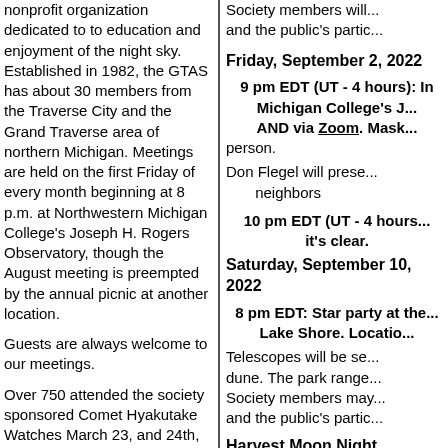nonprofit organization dedicated to to education and enjoyment of the night sky. Established in 1982, the GTAS has about 30 members from the Traverse City and the Grand Traverse area of northern Michigan. Meetings are held on the first Friday of every month beginning at 8 p.m. at Northwestern Michigan College's Joseph H. Rogers Observatory, though the August meeting is preempted by the annual picnic at another location.
Guests are always welcome to our meetings.
Over 750 attended the society sponsored Comet Hyakutake Watches March 23, and 24th, 1996. The farthest traveler came from Detroit to enjoy the dark skies and the spectacular comet through many
Society members will... and the public's partic...
Friday, September 2, 2022
9 pm EDT (UT - 4 hours): In Michigan College's J... AND via Zoom. Mask... person.
Don Flegel will present... neighbors
10 pm EDT (UT - 4 hours... it's clear.
Saturday, September 10, 2022
8 pm EDT: Star party at the... Lake Shore. Location...
Telescopes will be set... dune. The park range... Society members may... and the public's partic...
Harvest Moon Night...